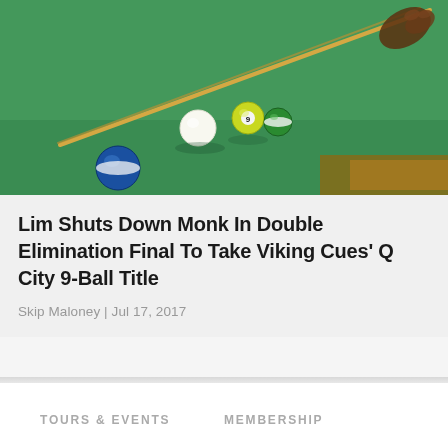[Figure (photo): Billiards/pool table photo showing a cue stick, cue ball, and colored pool balls on a green felt table surface. A hand wearing a glove is visible holding the cue stick.]
Lim Shuts Down Monk In Double Elimination Final To Take Viking Cues' Q City 9-Ball Title
Skip Maloney | Jul 17, 2017
TOURS & EVENTS
MEMBERSHIP
Tour & Events Homepage
Join Our Mailing List